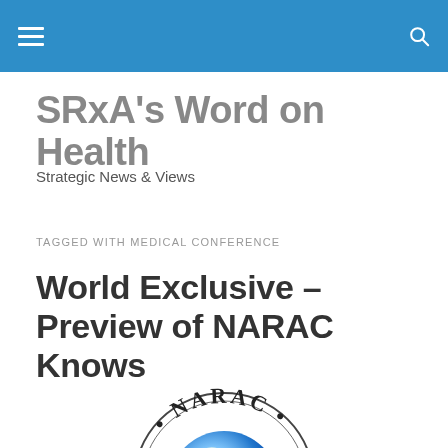SRxA's Word on Health — Strategic News & Views
TAGGED WITH MEDICAL CONFERENCE
World Exclusive – Preview of NARAC Knows
[Figure (logo): NARAC – North American Rheumatology Conference circular logo with a blue globe showing North America in the center]